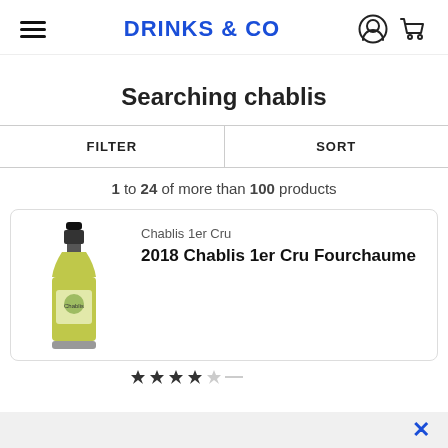DRINKS & CO
Searching chablis
FILTER   SORT
1 to 24 of more than 100 products
[Figure (photo): Bottle of 2018 Chablis 1er Cru Fourchaume wine]
Chablis 1er Cru
2018 Chablis 1er Cru Fourchaume